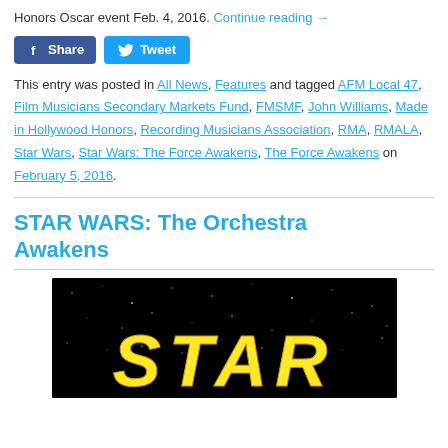Honors Oscar event Feb. 4, 2016. Continue reading →
[Figure (other): Facebook Share and Twitter Tweet social sharing buttons]
This entry was posted in All News, Features and tagged AFM Local 47, Film Musicians Secondary Markets Fund, FMSMF, John Williams, Made in Hollywood Honors, Recording Musicians Association, RMA, RMALA, Star Wars, Star Wars: The Force Awakens, The Force Awakens on February 5, 2016.
STAR WARS: The Orchestra Awakens
[Figure (photo): Star Wars logo text in yellow on black starfield background]